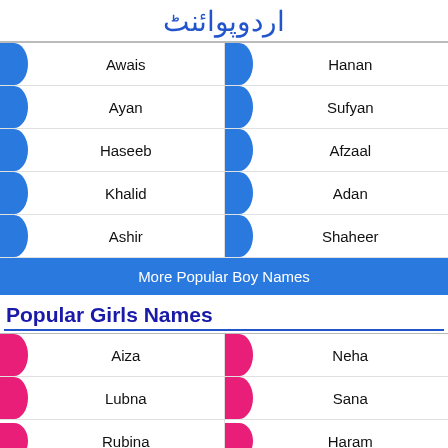اردوپوائنٹ
Awais
Hanan
Ayan
Sufyan
Haseeb
Afzaal
Khalid
Adan
Ashir
Shaheer
More Popular Boy Names
Popular Girls Names
Aiza
Neha
Lubna
Sana
Rubina
Haram